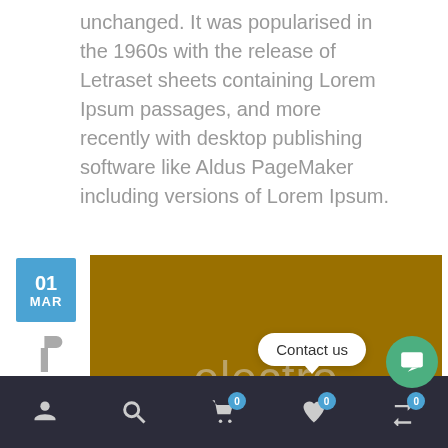unchanged. It was popularised in the 1960s with the release of Letraset sheets containing Lorem Ipsum passages, and more recently with desktop publishing software like Aldus PageMaker including versions of Lorem Ipsum.
[Figure (other): Blue date badge showing '01 MAR', paragraph icon below, and a dark golden/brown banner image with the word 'electro' in light text]
[Figure (screenshot): Bottom navigation bar with user, search, cart (0), wishlist (0), and compare (0) icons on dark background, plus a 'Contact us' speech bubble and green chat button]